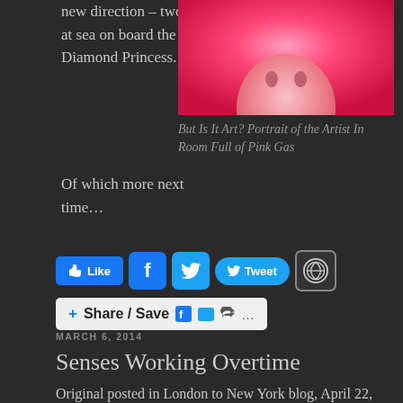new direction – two weeks at sea on board the Diamond Princess.
[Figure (photo): Artwork photo: portrait of artist in room full of pink gas – pink/red toned image with figure]
But Is It Art? Portrait of the Artist In Room Full of Pink Gas
Of which more next time…
[Figure (screenshot): Social sharing buttons row: Like button, Facebook square, Twitter square, Tweet button, WordPress button; and Share/Save bar with Facebook, Twitter, share icons and ellipsis]
MARCH 6, 2014
Senses Working Overtime
Original posted in London to New York blog, April 22, 2010